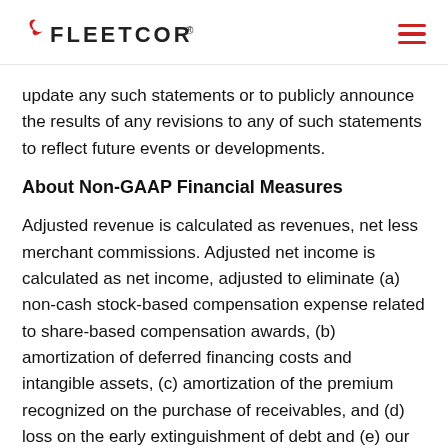FLEETCOR
update any such statements or to publicly announce the results of any revisions to any of such statements to reflect future events or developments.
About Non-GAAP Financial Measures
Adjusted revenue is calculated as revenues, net less merchant commissions. Adjusted net income is calculated as net income, adjusted to eliminate (a) non-cash stock-based compensation expense related to share-based compensation awards, (b) amortization of deferred financing costs and intangible assets, (c) amortization of the premium recognized on the purchase of receivables, and (d) loss on the early extinguishment of debt and (e) our proportionate share of amortization of intangible assets at our equity method investment. Adjusted EBITDA is calculated as net income as reflected in our income